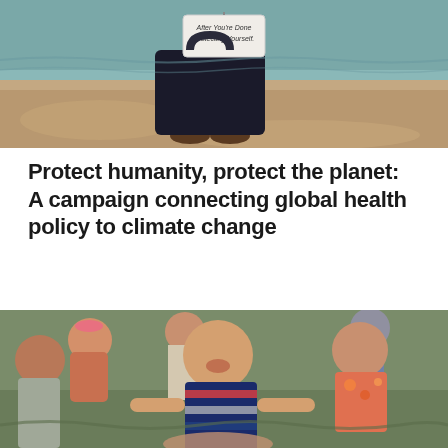[Figure (photo): Person standing on sandy beach holding a dark bag with text 'After You're Done Protecting Yourself.' Legs and feet visible, ocean/teal water in background.]
Protect humanity, protect the planet: A campaign connecting global health policy to climate change
[Figure (photo): Group of children playing outdoors. A laughing boy in a striped polo shirt is prominently featured in the center, reaching out to hold hands with other children. Background shows more children and adults standing on grass.]